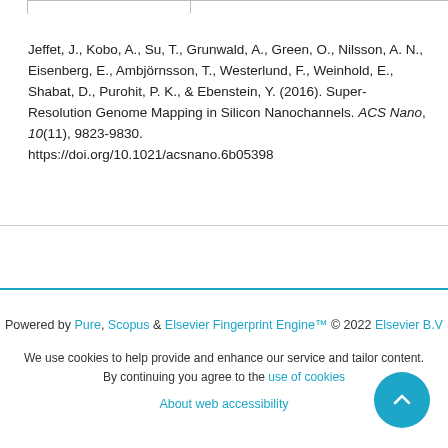Jeffet, J., Kobo, A., Su, T., Grunwald, A., Green, O., Nilsson, A. N., Eisenberg, E., Ambjörnsson, T., Westerlund, F., Weinhold, E., Shabat, D., Purohit, P. K., & Ebenstein, Y. (2016). Super-Resolution Genome Mapping in Silicon Nanochannels. ACS Nano, 10(11), 9823-9830. https://doi.org/10.1021/acsnano.6b05398
Powered by Pure, Scopus & Elsevier Fingerprint Engine™ © 2022 Elsevier B.V
We use cookies to help provide and enhance our service and tailor content. By continuing you agree to the use of cookies
About web accessibility